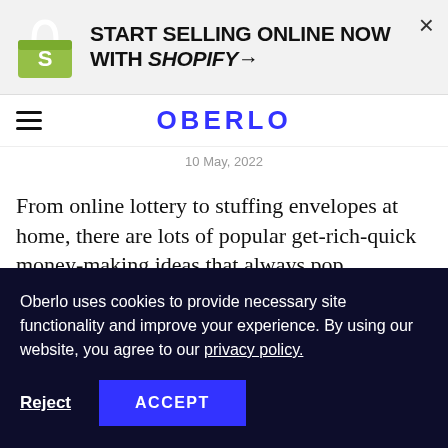[Figure (logo): Shopify ad banner with Shopify bag logo and text START SELLING ONLINE NOW WITH SHOPIFY→]
OBERLO
10 May, 2022
From online lottery to stuffing envelopes at home, there are lots of popular get-rich-quick money-making ideas that always pop
Oberlo uses cookies to provide necessary site functionality and improve your experience. By using our website, you agree to our privacy policy.
Reject  ACCEPT